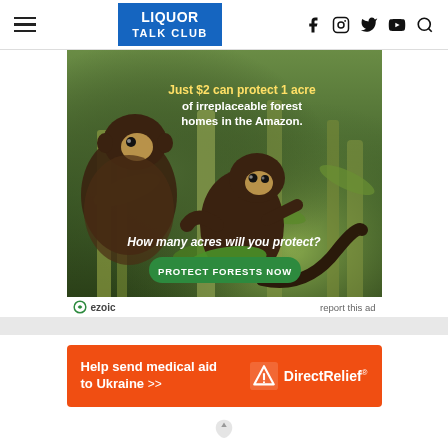LIQUOR TALK CLUB — navigation header with hamburger menu, logo, social icons (Facebook, Instagram, Twitter, YouTube, Search)
[Figure (photo): Advertisement: Two brown capuchin monkeys on bamboo branches in Amazon rainforest. Text overlay: 'Just $2 can protect 1 acre of irreplaceable forest homes in the Amazon.' and 'How many acres will you protect?' with a green button reading 'PROTECT FORESTS NOW'. Ezoic logo and 'report this ad' link below.]
[Figure (photo): Direct Relief advertisement banner in orange: 'Help send medical aid to Ukraine >>' with Direct Relief logo on right side.]